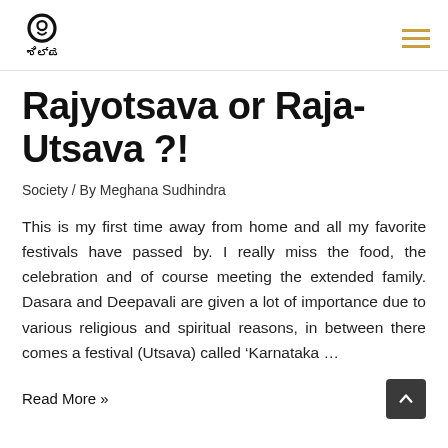Logo / Navigation header with site logo and hamburger menu
Rajyotsava or Raja-Utsava ?!
Society / By Meghana Sudhindra
This is my first time away from home and all my favorite festivals have passed by. I really miss the food, the celebration and of course meeting the extended family. Dasara and Deepavali are given a lot of importance due to various religious and spiritual reasons, in between there comes a festival (Utsava) called ‘Karnataka …
Read More »